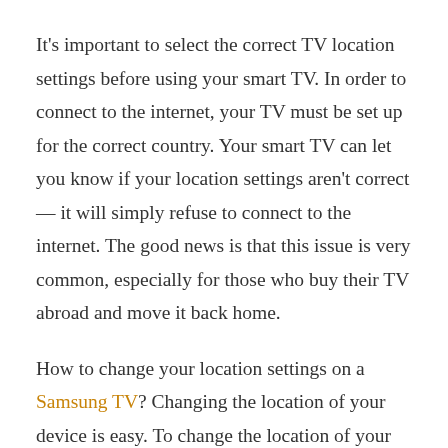It's important to select the correct TV location settings before using your smart TV. In order to connect to the internet, your TV must be set up for the correct country. Your smart TV can let you know if your location settings aren't correct — it will simply refuse to connect to the internet. The good news is that this issue is very common, especially for those who buy their TV abroad and move it back home.
How to change your location settings on a Samsung TV? Changing the location of your device is easy. To change the location of your device, first, you will need to go to the "Network"/"Location Settings". Your